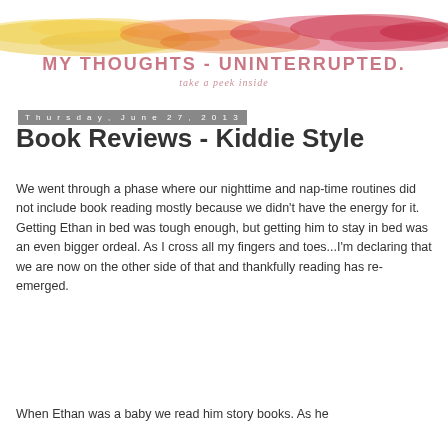[Figure (illustration): Blog header image for 'My Thoughts - Uninterrupted' with watercolor paint strokes in yellow, orange, and red/pink across the top, and the blog name 'MY THOUGHTS - UNINTERRUPTED.' with tagline 'take a peek inside' in pinkish text below.]
Thursday, June 27, 2013
Book Reviews - Kiddie Style
We went through a phase where our nighttime and nap-time routines did not include book reading mostly because we didn't have the energy for it. Getting Ethan in bed was tough enough, but getting him to stay in bed was an even bigger ordeal. As I cross all my fingers and toes...I'm declaring that we are now on the other side of that and thankfully reading has re-emerged.
When Ethan was a baby we read him story books. As he